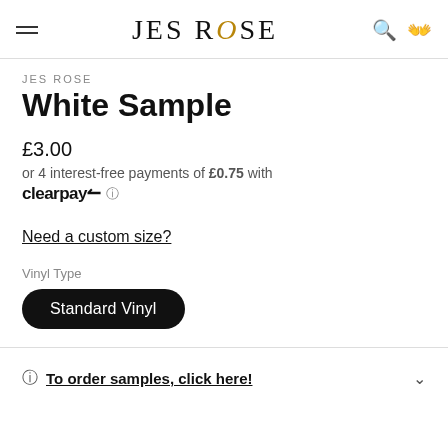JES ROSE
JES ROSE
White Sample
£3.00
or 4 interest-free payments of £0.75 with
clearpay ℹ
Need a custom size?
Vinyl Type
Standard Vinyl
To order samples, click here!